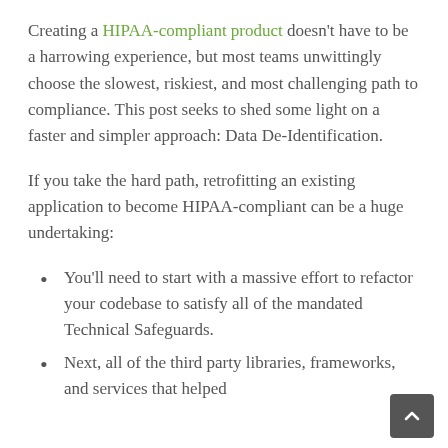Creating a HIPAA-compliant product doesn't have to be a harrowing experience, but most teams unwittingly choose the slowest, riskiest, and most challenging path to compliance. This post seeks to shed some light on a faster and simpler approach: Data De-Identification.
If you take the hard path, retrofitting an existing application to become HIPAA-compliant can be a huge undertaking:
You'll need to start with a massive effort to refactor your codebase to satisfy all of the mandated Technical Safeguards.
Next, all of the third party libraries, frameworks, and services that helped jump-start your initial application